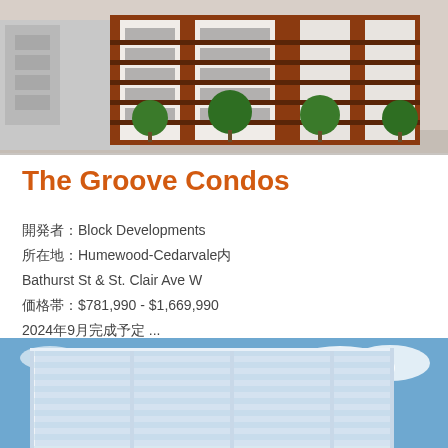[Figure (photo): Rendering of The Groove Condos building exterior — red/brown brick with white balconies and trees in front, urban setting]
The Groove Condos
開発者Block Developments
所在地Humewood-Cedarvale内
Bathurst St & St. Clair Ave W
価格帯$781,990 - $1,669,990
2024年9月完成予定 ...
詳細を見る
[Figure (photo): Rendering of a modern glass and white condo tower against a blue sky with clouds]